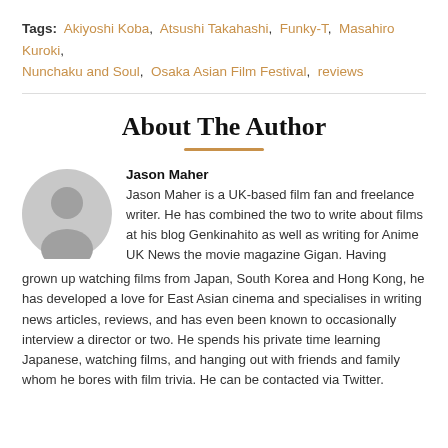Tags: Akiyoshi Koba, Atsushi Takahashi, Funky-T, Masahiro Kuroki, Nunchaku and Soul, Osaka Asian Film Festival, reviews
About The Author
Jason Maher
Jason Maher is a UK-based film fan and freelance writer. He has combined the two to write about films at his blog Genkinahito as well as writing for Anime UK News the movie magazine Gigan. Having grown up watching films from Japan, South Korea and Hong Kong, he has developed a love for East Asian cinema and specialises in writing news articles, reviews, and has even been known to occasionally interview a director or two. He spends his private time learning Japanese, watching films, and hanging out with friends and family whom he bores with film trivia. He can be contacted via Twitter.